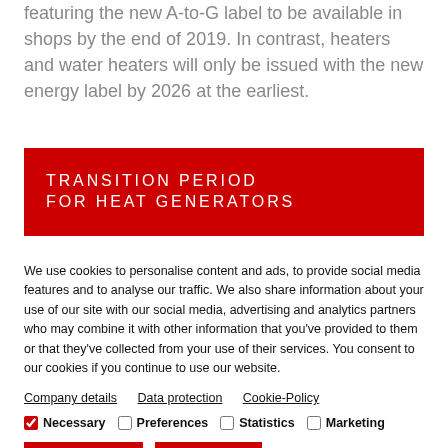featuring the new A-to-G label to be available in shops by the end of 2019. In contrast, heaters and water heaters will only be issued with the new energy label by 2026 at the earliest.
TRANSITION PERIOD FOR HEAT GENERATORS
We use cookies to personalise content and ads, to provide social media features and to analyse our traffic. We also share information about your use of our site with our social media, advertising and analytics partners who may combine it with other information that you've provided to them or that they've collected from your use of their services. You consent to our cookies if you continue to use our website.
Company details   Data protection   Cookie-Policy
Necessary   Preferences   Statistics   Marketing
Allow selection   Show details
Allow all cookies